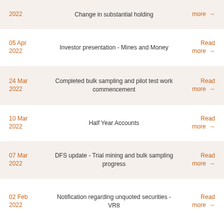2022 | Change in substantial holding | Read more
05 Apr 2022 | Investor presentation - Mines and Money | Read more
24 Mar 2022 | Completed bulk sampling and pilot test work commencement | Read more
10 Mar 2022 | Half Year Accounts | Read more
07 Mar 2022 | DFS update - Trial mining and bulk sampling progress | Read more
02 Feb 2022 | Notification regarding unquoted securities - VR8 | Read more